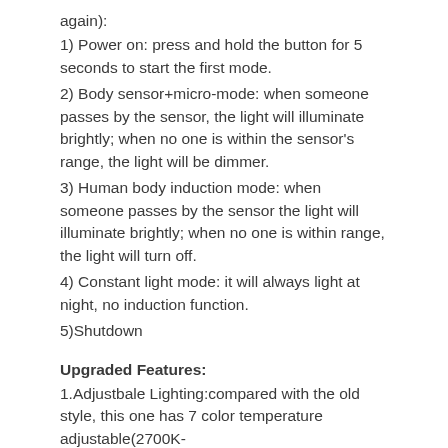again):
1) Power on: press and hold the button for 5 seconds to start the first mode.
2) Body sensor+micro-mode: when someone passes by the sensor, the light will illuminate brightly; when no one is within the sensor's range, the light will be dimmer.
3) Human body induction mode: when someone passes by the sensor the light will illuminate brightly; when no one is within range, the light will turn off.
4) Constant light mode: it will always light at night, no induction function.
5)Shutdown
Upgraded Features:
1.Adjustbale Lighting:compared with the old style, this one has 7 color temperature adjustable(2700K-